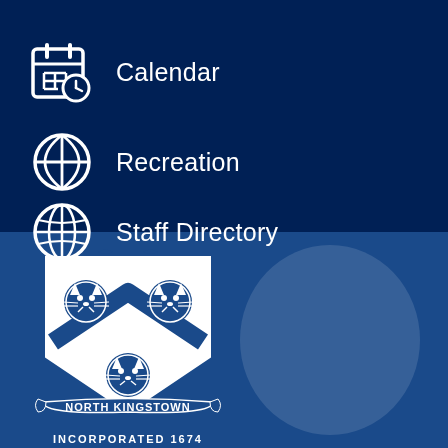Calendar
Recreation
Staff Directory
[Figure (logo): North Kingstown town seal/coat of arms showing three wildcats (two on top, one below), a chevron shield shape, decorative birds at top, and a scroll banner reading NORTH KINGSTOWN. White design on blue background.]
INCORPORATED 1674